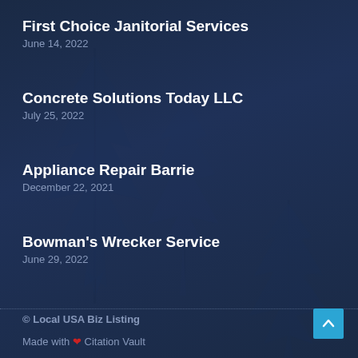First Choice Janitorial Services
June 14, 2022
Concrete Solutions Today LLC
July 25, 2022
Appliance Repair Barrie
December 22, 2021
Bowman's Wrecker Service
June 29, 2022
© Local USA Biz Listing
Made with ❤ Citation Vault